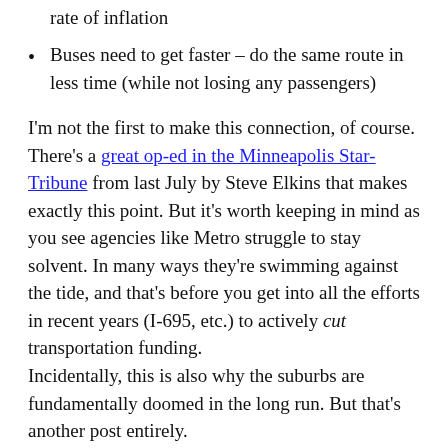rate of inflation
Buses need to get faster – do the same route in less time (while not losing any passengers)
I'm not the first to make this connection, of course.  There's a great op-ed in the Minneapolis Star-Tribune from last July by Steve Elkins that makes exactly this point.  But it's worth keeping in mind as you see agencies like Metro struggle to stay solvent.  In many ways they're swimming against the tide, and that's before you get into all the efforts in recent years (I-695, etc.) to actively cut transportation funding.
Incidentally, this is also why the suburbs are fundamentally doomed in the long run. But that's another post entirely.